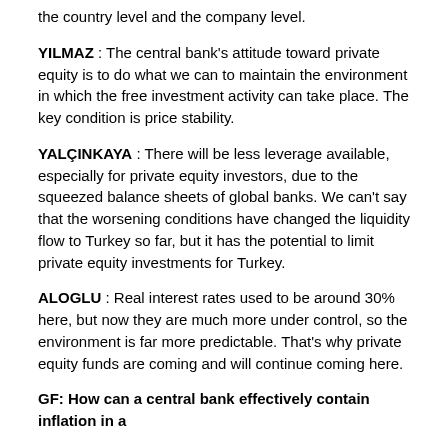the country level and the company level.
YILMAZ : The central bank's attitude toward private equity is to do what we can to maintain the environment in which the free investment activity can take place. The key condition is price stability.
YALÇINKAYA : There will be less leverage available, especially for private equity investors, due to the squeezed balance sheets of global banks. We can't say that the worsening conditions have changed the liquidity flow to Turkey so far, but it has the potential to limit private equity investments for Turkey.
ALOGLU : Real interest rates used to be around 30% here, but now they are much more under control, so the environment is far more predictable. That's why private equity funds are coming and will continue coming here.
GF: How can a central bank effectively contain inflation in a